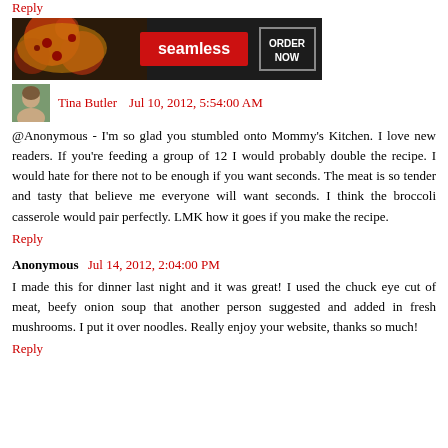Reply
[Figure (photo): Seamless pizza advertisement banner with pizza image on left, red Seamless logo in center, and ORDER NOW button on right against dark background]
Tina Butler   Jul 10, 2012, 5:54:00 AM
@Anonymous - I'm so glad you stumbled onto Mommy's Kitchen. I love new readers. If you're feeding a group of 12 I would probably double the recipe. I would hate for there not to be enough if you want seconds. The meat is so tender and tasty that believe me everyone will want seconds. I think the broccoli casserole would pair perfectly. LMK how it goes if you make the recipe.
Reply
Anonymous   Jul 14, 2012, 2:04:00 PM
I made this for dinner last night and it was great! I used the chuck eye cut of meat, beefy onion soup that another person suggested and added in fresh mushrooms. I put it over noodles. Really enjoy your website, thanks so much!
Reply